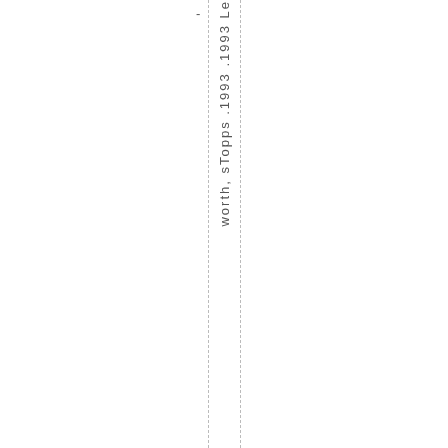- worth, sTopps .1993 .1993 Le